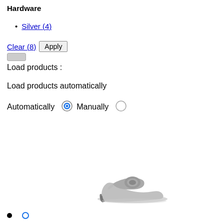Hardware
Silver (4)
Clear (8)   Apply
Load products :
Load products automatically
Automatically  (radio selected)  Manually  (radio unselected)
[Figure (photo): Silver high-heeled mule sandal with decorative buckle on a white background]
• (filled dot)  (empty circle dot)